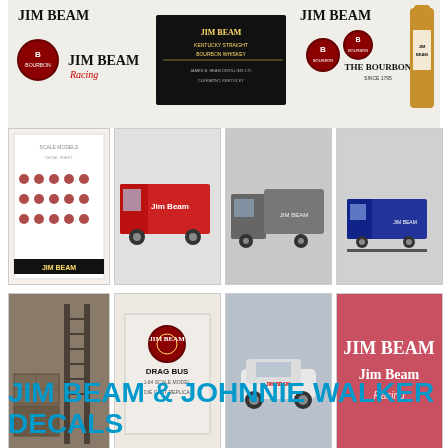[Figure (illustration): Jim Beam brand logos and labels banner: multiple Jim Beam logos, seals, Kentucky Straight Bourbon Whiskey label, Jim Beam Racing logo, The Bourbon Since 1795 text, and a bottle of Jim Beam]
[Figure (photo): Sheet of Jim Beam racing decals with small figures and logos]
[Figure (photo): Red Jim Beam delivery truck model]
[Figure (photo): Gray/dark Jim Beam tanker truck model]
[Figure (photo): Blue Jim Beam box truck model]
[Figure (photo): Dark photo showing wooden crates or barrels with ladder]
[Figure (photo): Jim Beam Drag Bus - box with Jim Beam logo and drag bus text]
[Figure (photo): Jim Beam racing vehicle model]
[Figure (illustration): Jim Beam Racing logo on pink/red background]
[Figure (logo): Johnnie Walker logo with striding man figure]
JIM BEAM & JOHNNIE WALKER DECALS